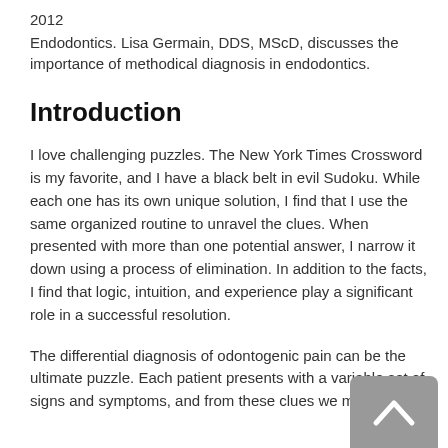2012
Endodontics. Lisa Germain, DDS, MScD, discusses the importance of methodical diagnosis in endodontics.
Introduction
I love challenging puzzles. The New York Times Crossword is my favorite, and I have a black belt in evil Sudoku. While each one has its own unique solution, I find that I use the same organized routine to unravel the clues. When presented with more than one potential answer, I narrow it down using a process of elimination. In addition to the facts, I find that logic, intuition, and experience play a significant role in a successful resolution.
The differential diagnosis of odontogenic pain can be the ultimate puzzle. Each patient presents with a variable set of signs and symptoms, and from these clues we must